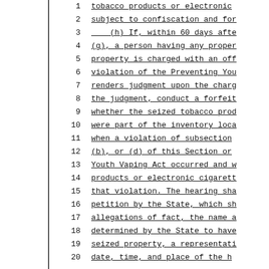1   tobacco products or electronic
2   subject to confiscation and for
3       (h) If, within 60 days afte
4   (g), a person having any proper
5   property is charged with an off
6   violation of the Preventing You
7   renders judgment upon the charg
8   the judgment, conduct a forfeit
9   whether the seized tobacco prod
10  were part of the inventory loca
11  when a violation of subsection
12  (b), or (d) of this Section or
13  Youth Vaping Act occurred and w
14  products or electronic cigarett
15  that violation. The hearing sha
16  petition by the State, which sh
17  allegations of fact, the name a
18  determined by the State to have
19  seized property, a representati
20  date, time, and place of the h